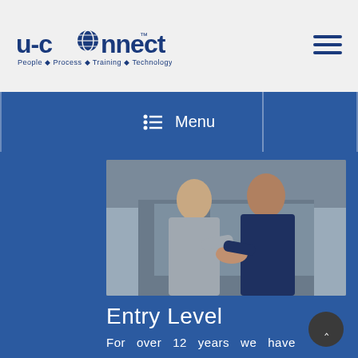[Figure (logo): U-connect logo with globe icon and tagline: People · Process · Training · Technology]
[Figure (other): Hamburger/menu icon (three horizontal lines) in dark blue]
☰ Menu
[Figure (photo): Two business professionals shaking hands outdoors in front of a modern building. A woman in a grey blazer on the left, a man in a navy suit on the right.]
Entry Level
For  over  12  years  we  have